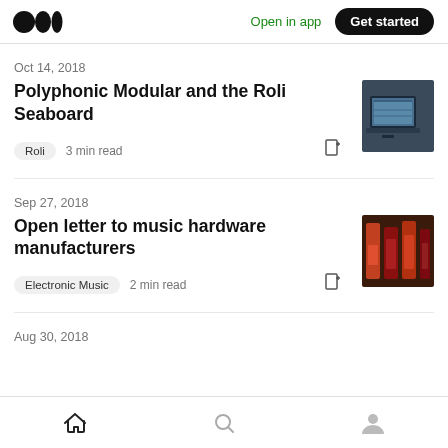Medium logo | Open in app | Get started
Oct 14, 2018
Polyphonic Modular and the Roli Seaboard
Roli  3 min read
[Figure (photo): Laptop computer photo thumbnail]
Sep 27, 2018
Open letter to music hardware manufacturers
Electronic Music  2 min read
[Figure (photo): Music hardware/electronics photo thumbnail]
Aug 30, 2018
Home | Search | Profile